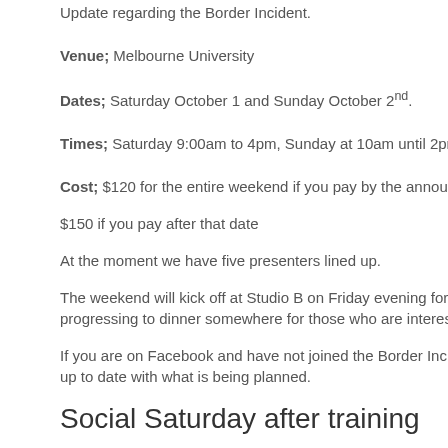Update regarding the Border Incident.
Venue; Melbourne University
Dates; Saturday October 1 and Sunday October 2nd.
Times; Saturday 9:00am to 4pm, Sunday at 10am until 2pm.
Cost; $120 for the entire weekend if you pay by the announced c…
$150 if you pay after that date
At the moment we have five presenters lined up.
The weekend will kick off at Studio B on Friday evening for a get t… progressing to dinner somewhere for those who are interested.
If you are on Facebook and have not joined the Border Incident 2… up to date with what is being planned.
Social Saturday after training
Saturday training has been going well lately. Attendance has bee… be high and additionally there will…